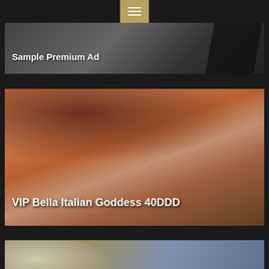[Figure (screenshot): Navigation menu button (hamburger icon) on gold/tan background at top center of page]
[Figure (photo): Partially visible advertisement card with dark background labeled 'Sample Premium Ad']
Sample Premium Ad
[Figure (photo): Adult advertisement photo showing a woman, labeled 'VIP Bella Italian Goddess 40DDD']
VIP Bella Italian Goddess 40DDD
[Figure (photo): Partially visible photo at bottom of page showing blonde hair]